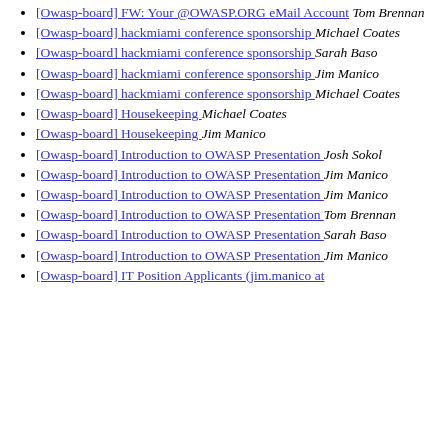[Owasp-board] FW: Your @OWASP.ORG eMail Account  Tom Brennan
[Owasp-board] hackmiami conference sponsorship  Michael Coates
[Owasp-board] hackmiami conference sponsorship  Sarah Baso
[Owasp-board] hackmiami conference sponsorship  Jim Manico
[Owasp-board] hackmiami conference sponsorship  Michael Coates
[Owasp-board] Housekeeping  Michael Coates
[Owasp-board] Housekeeping  Jim Manico
[Owasp-board] Introduction to OWASP Presentation  Josh Sokol
[Owasp-board] Introduction to OWASP Presentation  Jim Manico
[Owasp-board] Introduction to OWASP Presentation  Jim Manico
[Owasp-board] Introduction to OWASP Presentation  Tom Brennan
[Owasp-board] Introduction to OWASP Presentation  Sarah Baso
[Owasp-board] Introduction to OWASP Presentation  Jim Manico
[Owasp-board] IT Position Applicants (jim.manico at